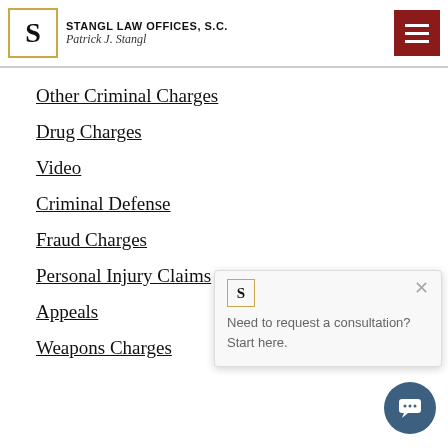STANGL LAW OFFICES, S.C. Patrick J. Stangl
Other Criminal Charges
Drug Charges
Video
Criminal Defense
Fraud Charges
Personal Injury Claims
Appeals
Weapons Charges
Need to request a consultation? Start here.